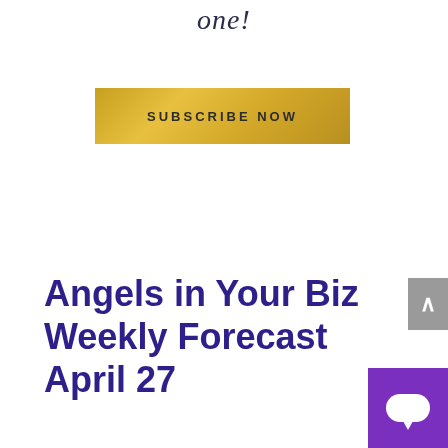one!
[Figure (other): Gold gradient 'SUBSCRIBE NOW' button]
Angels in Your Biz Weekly Forecast April 27